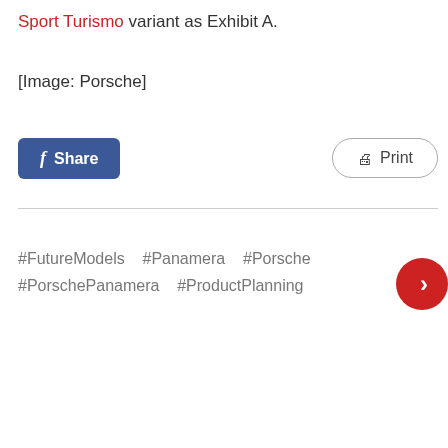Sport Turismo variant as Exhibit A.
[Image: Porsche]
Share   Print
#FutureModels   #Panamera   #Porsche   #PorschePanamera   #ProductPlanning